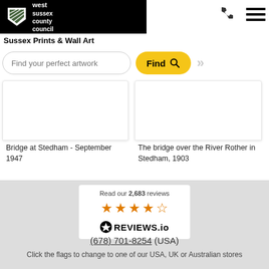[Figure (logo): West Sussex County Council logo with shield on black background]
Sussex Prints & Wall Art
[Figure (screenshot): Find your perfect artwork search input with Find button and navigation chevrons]
[Figure (photo): Product card: Bridge at Stedham - September 1947 (white image placeholder)]
Bridge at Stedham - September 1947
[Figure (photo): Product card: The bridge over the River Rother in Stedham, 1903 (white image placeholder)]
The bridge over the River Rother in Stedham, 1903
[Figure (logo): Reviews.io widget showing Read our 2,683 reviews with 4.5 stars rating]
(678) 701-8254 (USA)
Click the flags to change to one of our USA, UK or Australian stores